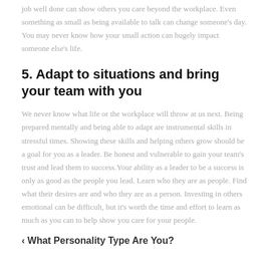job well done can show others you care beyond the workplace. Even something as small as being available to talk can change someone's day. You may never know how your small action can hugely impact someone else's life.
5. Adapt to situations and bring your team with you
We never know what life or the workplace will throw at us next. Being prepared mentally and being able to adapt are instrumental skills in stressful times. Showing these skills and helping others grow should be a goal for you as a leader. Be honest and vulnerable to gain your team's trust and lead them to success.Your ability as a leader to be a success is only as good as the people you lead. Learn who they are as people. Find what their desires are and who they are as a person. Investing in others emotional can be difficult, but it's worth the time and effort to learn as much as you can to help show you care for your people.
‹ What Personality Type Are You?